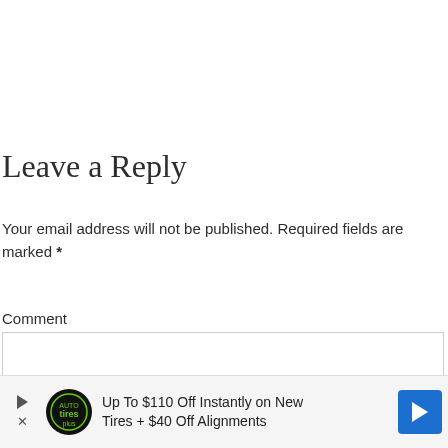Leave a Reply
Your email address will not be published. Required fields are marked *
Comment
[Figure (screenshot): Comment input text area box, empty, with light gray border]
[Figure (infographic): Advertisement banner: Up To $110 Off Instantly on New Tires + $40 Off Alignments, with Tires Plus Auto logo and blue arrow button]